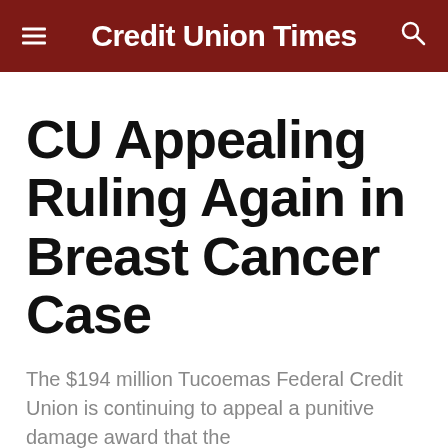Credit Union Times
CU Appealing Ruling Again in Breast Cancer Case
The $194 million Tucoemas Federal Credit Union is continuing to appeal a punitive damage award that the